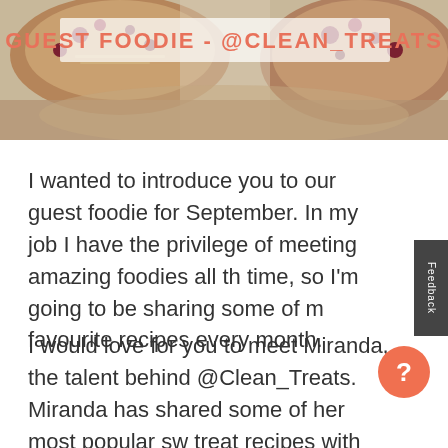[Figure (photo): Top banner showing overhead food images (granola bowls, berries, nuts) with text overlay 'GUEST FOODIE - @CLEAN_TREATS' in coral/salmon color]
I wanted to introduce you to our guest foodie for September. In my job I have the privilege of meeting amazing foodies all the time, so I'm going to be sharing some of my favourite recipes every month.
I would love for you to meet Miranda, the talent behind @Clean_Treats. Miranda has shared some of her most popular sweet treat recipes with us. They are absolutely